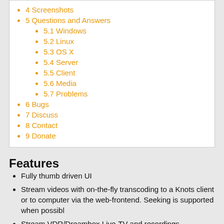4 Screenshots
5 Questions and Answers
5.1 Windows
5.2 Linux
5.3 OS X
5.4 Server
5.5 Client
5.6 Media
5.7 Problems
6 Bugs
7 Discuss
8 Contact
9 Donate
Features
Fully thumb driven UI
Stream videos with on-the-fly transcoding to a Knots client or to computer via the web-frontend. Seeking is supported when possible.
Stream VDR/Dreambox Live-TV and recordings
Stream MythTV recordings